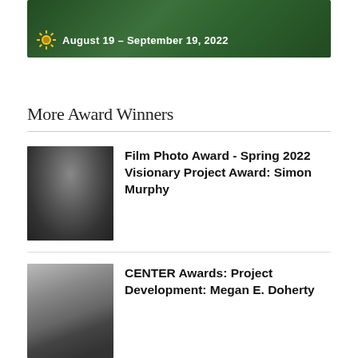[Figure (photo): Promotional image with green background and text reading 'August 19 – September 19, 2022' with a sunflower icon]
More Award Winners
Film Photo Award - Spring 2022 Visionary Project Award: Simon Murphy
CENTER Awards: Project Development: Megan E. Doherty
The CENTER Awards: Project Launch Grant Winner: Igor Tereshkov
Center Awards: The 2022...